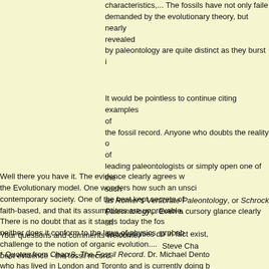characteristics,... The fossils have not only failed to provide the transitional forms demanded by the evolutionary theory, but nearly all the new groups of organisms revealed by paleontology are quite distinct as they burst into the fossil record.
It would be pointless to continue citing examples of the fossil record. Anyone who doubts the reality of discontinuities do in fact exist, simply consult the works of leading paleontologists or simply open one of their leading texts such as Romer's Vertibrate Paleontology, or Schrock and Twenhofel's Paleontology... Even a cursory glance clearly shows that discontinuities do in fact exist.
Well there you have it. The evidence clearly agrees with the Evolutionary model. One wonders how such an unscientific concept has survived so long in contemporary society. One of the best kept secrets of the evolutionary model is that it is faith-based, and that its assumptions are unprovable. There is no doubt that as it stands today the fossil record is neither does it conform to the laws of physics, probably represents the best evidence - the fossil record.
There is no doubt that as it stands today the fossil record is a real challenge to the notion of organic evolution....
Your questions and comments welcome,
Steve Cha
* Quotes from Chap 8, The Fossil Record. Dr. Michael Dento who has lived in London and Toronto and is currently doing b Creationist.